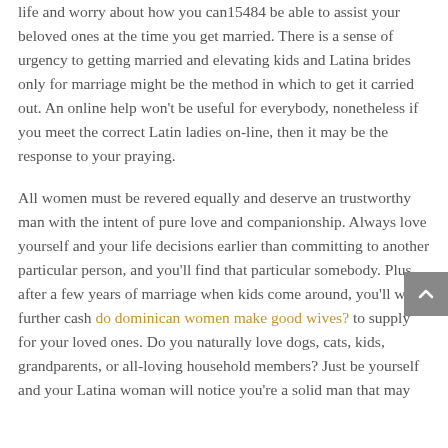life and worry about how you can15484 be able to assist your beloved ones at the time you get married. There is a sense of urgency to getting married and elevating kids and Latina brides only for marriage might be the method in which to get it carried out. An online help won't be useful for everybody, nonetheless if you meet the correct Latin ladies on-line, then it may be the response to your praying.
All women must be revered equally and deserve an trustworthy man with the intent of pure love and companionship. Always love yourself and your life decisions earlier than committing to another particular person, and you'll find that particular somebody. Plus, after a few years of marriage when kids come around, you'll want further cash do dominican women make good wives? to supply for your loved ones. Do you naturally love dogs, cats, kids, grandparents, or all-loving household members? Just be yourself and your Latina woman will notice you're a solid man that may